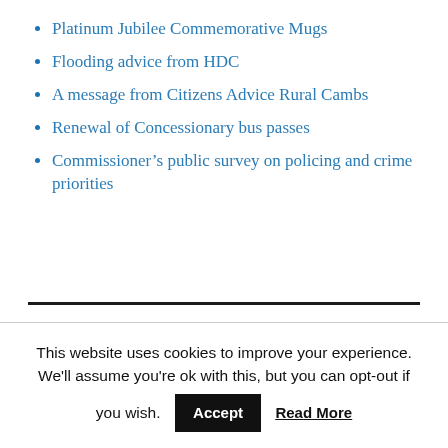Platinum Jubilee Commemorative Mugs
Flooding advice from HDC
A message from Citizens Advice Rural Cambs
Renewal of Concessionary bus passes
Commissioner’s public survey on policing and crime priorities
BLOGROLL
This website uses cookies to improve your experience. We'll assume you're ok with this, but you can opt-out if you wish. Accept Read More